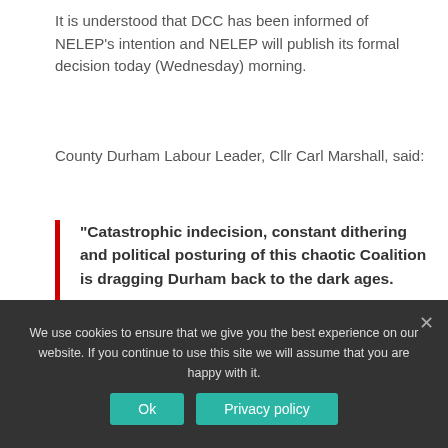It is understood that DCC has been informed of NELEP's intention and NELEP will publish its formal decision today (Wednesday) morning.
County Durham Labour Leader, Cllr Carl Marshall, said:
“Catastrophic indecision, constant dithering and political posturing of this chaotic Coalition is dragging Durham back to the dark ages.

“Nobody in this so-called Coalition has a clue what they are doing – they don’t
We use cookies to ensure that we give you the best experience on our website. If you continue to use this site we will assume that you are happy with it.